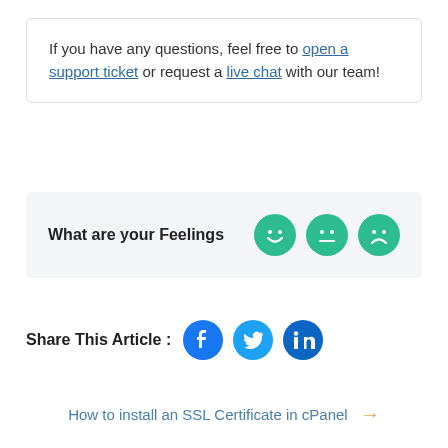If you have any questions, feel free to open a support ticket or request a live chat with our team!
What are your Feelings
[Figure (infographic): Three green emoji circles: happy, neutral, and sad face]
Share This Article :
[Figure (infographic): Three social media icons: Facebook (blue), Twitter (blue), LinkedIn (blue)]
How to install an SSL Certificate in cPanel →